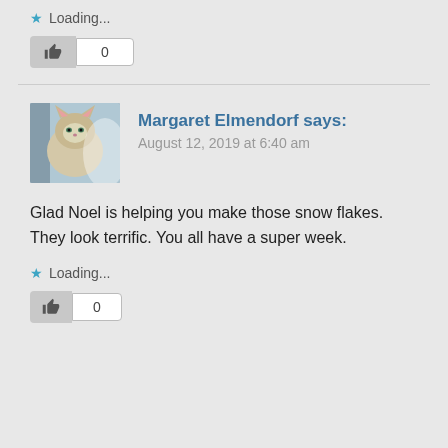Loading...
[Figure (screenshot): Like button with thumbs up icon and count showing 0]
[Figure (photo): Avatar photo of a cat (Margaret Elmendorf's profile picture)]
Margaret Elmendorf says:
August 12, 2019 at 6:40 am
Glad Noel is helping you make those snow flakes. They look terrific. You all have a super week.
Loading...
[Figure (screenshot): Like button with thumbs up icon and count showing 0]